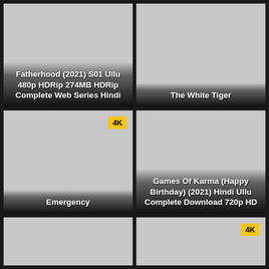[Figure (screenshot): Movie thumbnail card for Fatherhood (2021) S01 Ullu 480p HDRip 274MB HDRip Complete Web Series Hindi]
[Figure (screenshot): Movie thumbnail card for The White Tiger]
[Figure (screenshot): Movie thumbnail card for Emergency with 4K badge]
[Figure (screenshot): Movie thumbnail card for Games Of Karma (Happy Birthday) (2021) Hindi Ullu Complete Download 720p HD]
[Figure (screenshot): Partially visible thumbnail card bottom row left]
[Figure (screenshot): Partially visible thumbnail card bottom row right with 4K badge]